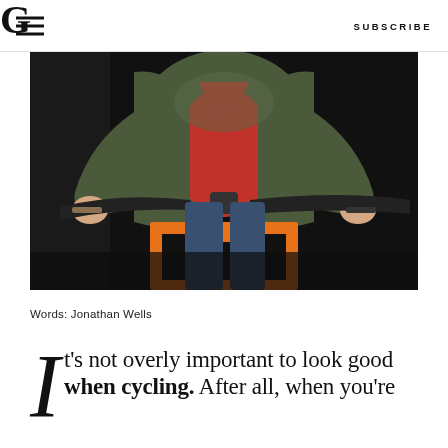G  SUBSCRIBE
[Figure (photo): Person riding a bicycle with an orange front rack, wearing a green bomber jacket and red hoodie, photographed from chest-down against a dark background.]
Words: Jonathan Wells
It's not overly important to look good when cycling. After all, when you're